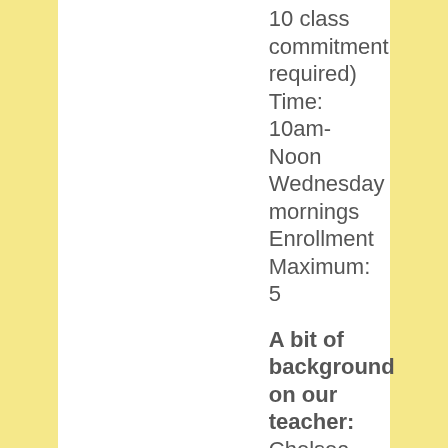10 class commitment required) Time: 10am-Noon Wednesday mornings Enrollment Maximum: 5
A bit of background on our teacher: Chelsea Callender